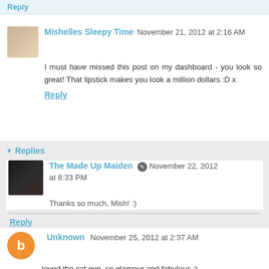Reply
Mishelles Sleepy Time  November 21, 2012 at 2:16 AM
I must have missed this post on my dashboard - you look so great! That lipstick makes you look a million dollars :D x
Reply
Replies
The Made Up Maiden  November 22, 2012 at 8:33 PM
Thanks so much, Mish! :)
Reply
Unknown  November 25, 2012 at 2:37 AM
loved the cat eye, so glamour and fabulous :)